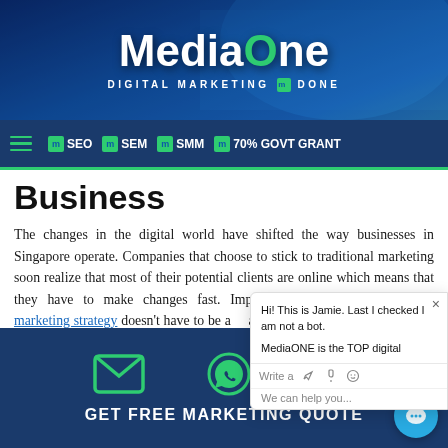MediaOne | DIGITAL MARKETING DONE
SEO | SEM | SMM | 70% GOVT GRANT
Business
The changes in the digital world have shifted the way businesses in Singapore operate. Companies that choose to stick to traditional marketing soon realize that most of their potential clients are online which means that they have to make changes fast. Implementing a Singapore marketing strategy doesn't have to be a and you don't need to have an in-ho marketing department.
GET FREE MARKETING QUOTE